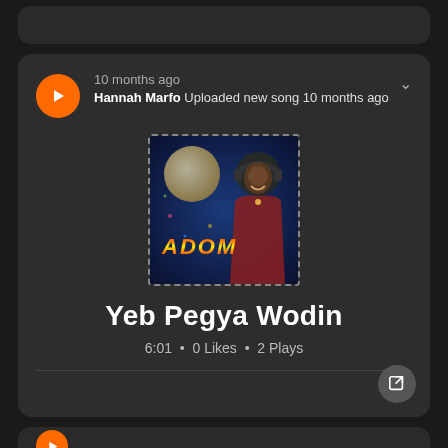[Figure (screenshot): Top sliver of a music streaming card above the main card]
10 months ago
Hannah Marfo Uploaded new song 10 months ago
[Figure (photo): Album art showing a person with headphones and the text ADOM against a dark blue background with moon]
Yeb Pegya Wodin
6:01 · 0 Likes · 2 Plays
[Figure (screenshot): Bottom sliver of another music streaming card with orange play button]